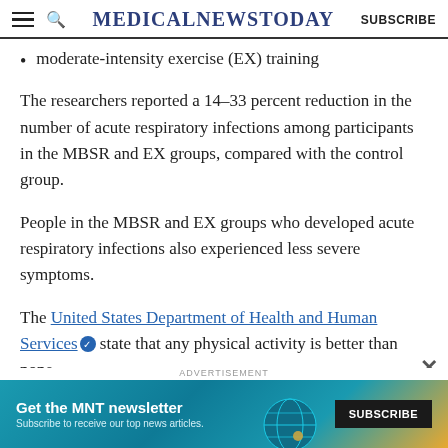MedicalNewsToday SUBSCRIBE
moderate-intensity exercise (EX) training
The researchers reported a 14–33 percent reduction in the number of acute respiratory infections among participants in the MBSR and EX groups, compared with the control group.
People in the MBSR and EX groups who developed acute respiratory infections also experienced less severe symptoms.
The United States Department of Health and Human Services state that any physical activity is better than none
[Figure (other): Advertisement banner: Get the MNT newsletter. Subscribe to receive our top news articles. SUBSCRIBE button.]